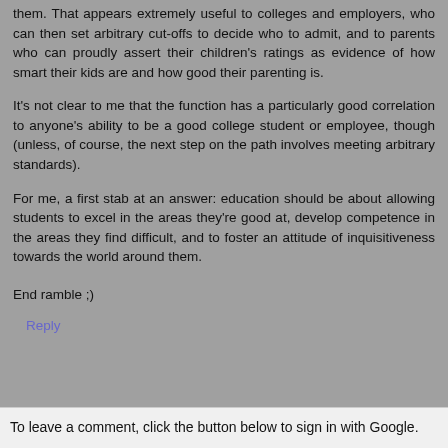them. That appears extremely useful to colleges and employers, who can then set arbitrary cut-offs to decide who to admit, and to parents who can proudly assert their children's ratings as evidence of how smart their kids are and how good their parenting is.
It's not clear to me that the function has a particularly good correlation to anyone's ability to be a good college student or employee, though (unless, of course, the next step on the path involves meeting arbitrary standards).
For me, a first stab at an answer: education should be about allowing students to excel in the areas they're good at, develop competence in the areas they find difficult, and to foster an attitude of inquisitiveness towards the world around them.
End ramble ;)
Reply
To leave a comment, click the button below to sign in with Google.